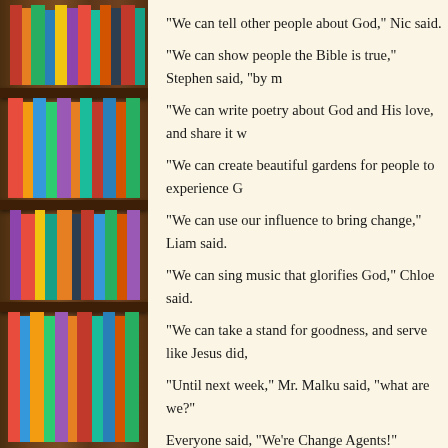[Figure (photo): Bookshelf with colorful book spines visible on the left side of the page]
“We can tell other people about God,” Nic said.
“We can show people the Bible is true,” Stephen said, “by m…”
“We can write poetry about God and His love, and share it w…”
“We can create beautiful gardens for people to experience G…”
“We can use our influence to bring change,” Liam said.
“We can sing music that glorifies God,” Chloe said.
“We can take a stand for goodness, and serve like Jesus did,…”
“Until next week,” Mr. Malku said, “what are we?”
Everyone said, “We’re Change Agents!”
“And why are we Change Agents?”
“Because we’re changing the world for Jesus Christ!”